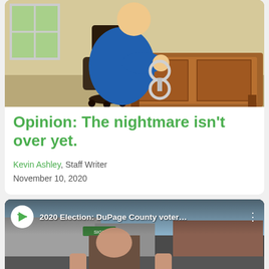[Figure (illustration): Cartoon illustration of an overweight person in a blue outfit handcuffed to a wooden desk with an office chair, set in an interior room with a window.]
Opinion: The nightmare isn't over yet.
Kevin Ashley, Staff Writer
November 10, 2020
[Figure (screenshot): YouTube video thumbnail showing a man outdoors near a parking lot with text overlay: '2020 Election: DuPage County voter...' and a channel logo (green arrow on white circle).]